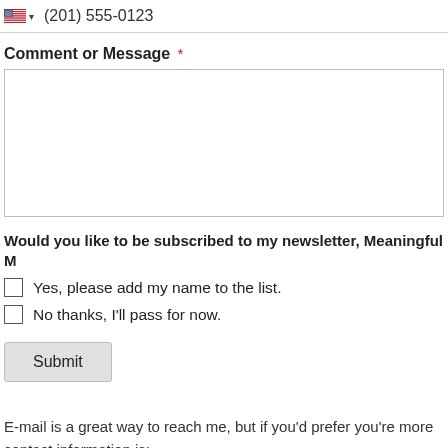(201) 555-0123
Comment or Message *
Would you like to be subscribed to my newsletter, Meaningful M...
Yes, please add my name to the list.
No thanks, I'll pass for now.
Submit
E-mail is a great way to reach me, but if you'd prefer you're more contact information is: